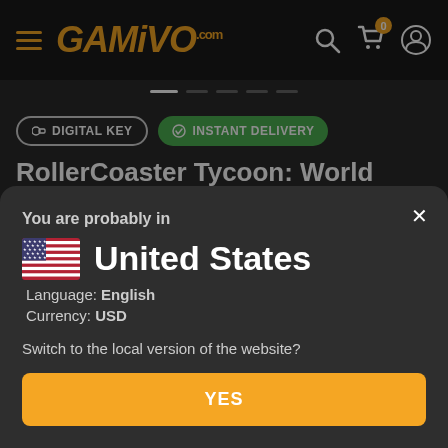[Figure (screenshot): GAMIVO.com website navigation bar with hamburger menu, orange GAMIVO logo, search icon, cart icon with orange badge showing 0, and user profile icon]
DIGITAL KEY
INSTANT DELIVERY
RollerCoaster Tycoon: World
You are probably in
United States
Language: English
Currency: USD
Switch to the local version of the website?
YES